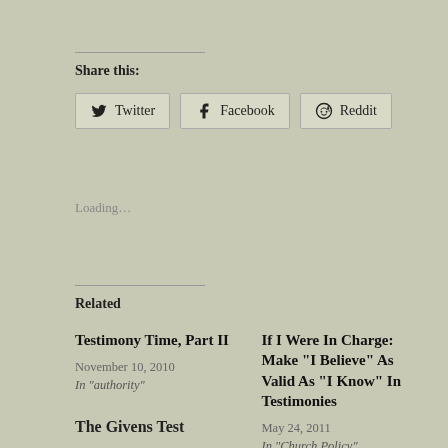Share this:
Twitter | Facebook | Reddit
Loading...
Related
Testimony Time, Part II
November 10, 2010
In "authority"
If I Were In Charge: Make “I Believe” As Valid As “I Know” In Testimonies
May 24, 2011
In “Church Policy”
The Givens Test